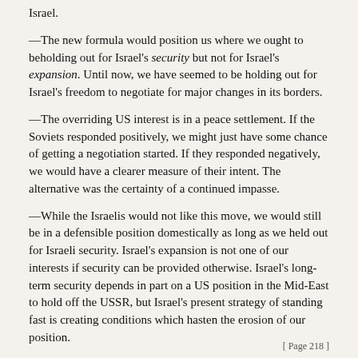Israel.
—The new formula would position us where we ought to beholding out for Israel's security but not for Israel's expansion. Until now, we have seemed to be holding out for Israel's freedom to negotiate for major changes in its borders.
—The overriding US interest is in a peace settlement. If the Soviets responded positively, we might just have some chance of getting a negotiation started. If they responded negatively, we would have a clearer measure of their intent. The alternative was the certainty of a continued impasse.
—While the Israelis would not like this move, we would still be in a defensible position domestically as long as we held out for Israeli security. Israel's expansion is not one of our interests if security can be provided otherwise. Israel's long-term security depends in part on a US position in the Mid-East to hold off the USSR, but Israel's present strategy of standing fast is creating conditions which hasten the erosion of our position.
My reservations on the Sisco initiative are as follows:
—I am not sure that a diplomatic move like this can
[ Page 218 ]